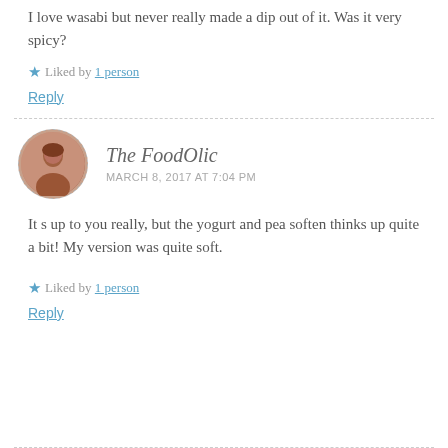I love wasabi but never really made a dip out of it. Was it very spicy?
★ Liked by 1 person
Reply
The FoodOlic
MARCH 8, 2017 AT 7:04 PM
It s up to you really, but the yogurt and pea soften thinks up quite a bit! My version was quite soft.
★ Liked by 1 person
Reply